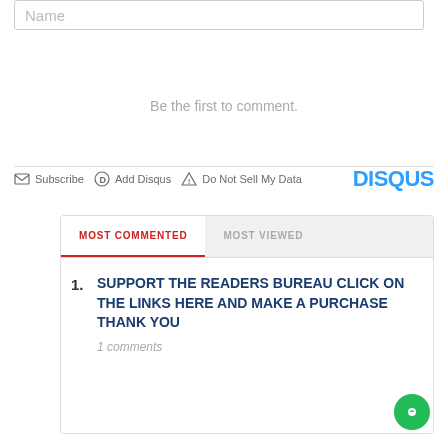Name
Be the first to comment.
Subscribe   Add Disqus   Do Not Sell My Data   DISQUS
MOST COMMENTED
MOST VIEWED
1. SUPPORT THE READERS BUREAU CLICK ON THE LINKS HERE AND MAKE A PURCHASE THANK YOU
1 comments